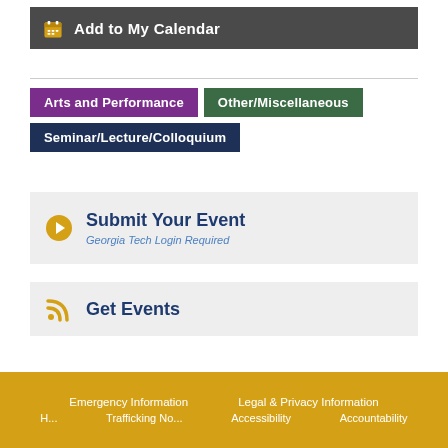Add to My Calendar
Arts and Performance
Other/Miscellaneous
Seminar/Lecture/Colloquium
Submit Your Event
Georgia Tech Login Required
Get Events
Emergency Information   Legal & Privacy Information